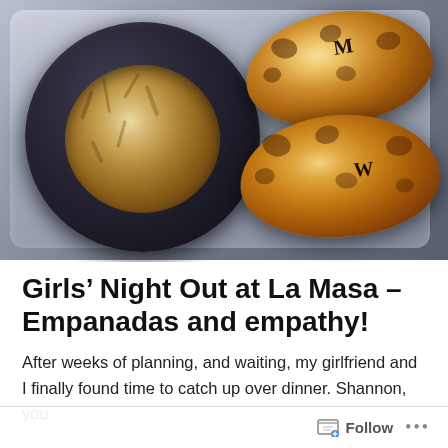[Figure (photo): Photo of a dark bowl filled with chopped/minced food ingredients, alongside two golden-brown baked empanadas marked with letters 'M' and 'W', on a light surface.]
Girls’ Night Out at La Masa – Empanadas and empathy!
After weeks of planning, and waiting, my girlfriend and I finally found time to catch up over dinner. Shannon, you
Follow ...